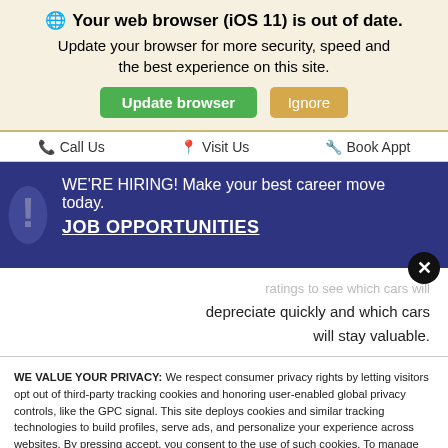🌐 Your web browser (iOS 11) is out of date. Update your browser for more security, speed and the best experience on this site.
Update browser | Ignore
Call Us   Visit Us   Book Appt
WE'RE HIRING! Make your best career move today. JOB OPPORTUNITIES
ratings to see which cars will depreciate quickly and which cars will stay valuable.
WE VALUE YOUR PRIVACY: We respect consumer privacy rights by letting visitors opt out of third-party tracking cookies and honoring user-enabled global privacy controls, like the GPC signal. This site deploys cookies and similar tracking technologies to build profiles, serve ads, and personalize your experience across websites. By pressing accept, you consent to the use of such cookies. To manage your privacy rights or view the categories of personal information we collect and the purposes for which the information is used, click here.
Language: English ∨   Powered by ComplyAuto
Accept and Continue →   Privacy Policy   ×